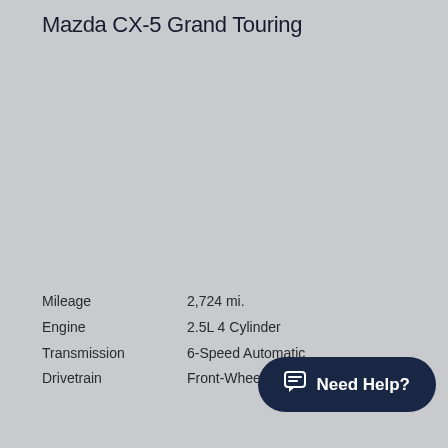Mazda CX-5 Grand Touring
Mileage    2,724 mi.
Engine    2.5L 4 Cylinder
Transmission    6-Speed Automatic
Drivetrain    Front-Wheel Drive